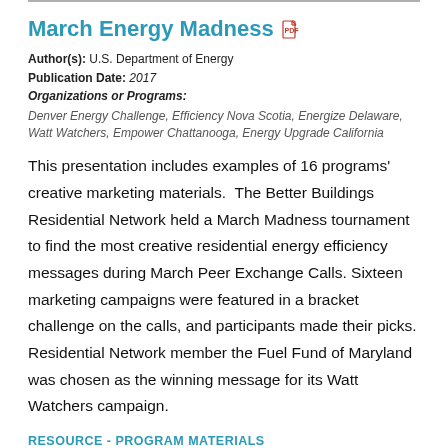March Energy Madness
Author(s): U.S. Department of Energy
Publication Date: 2017
Organizations or Programs:
Denver Energy Challenge, Efficiency Nova Scotia, Energize Delaware, Watt Watchers, Empower Chattanooga, Energy Upgrade California
This presentation includes examples of 16 programs' creative marketing materials. The Better Buildings Residential Network held a March Madness tournament to find the most creative residential energy efficiency messages during March Peer Exchange Calls. Sixteen marketing campaigns were featured in a bracket challenge on the calls, and participants made their picks. Residential Network member the Fuel Fund of Maryland was chosen as the winning message for its Watt Watchers campaign.
RESOURCE - PROGRAM MATERIALS